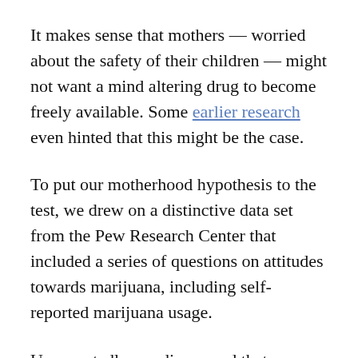It makes sense that mothers — worried about the safety of their children — might not want a mind altering drug to become freely available. Some earlier research even hinted that this might be the case.
To put our motherhood hypothesis to the test, we drew on a distinctive data set from the Pew Research Center that included a series of questions on attitudes towards marijuana, including self-reported marijuana usage.
Unexpectedly, we discovered that mothers and fathers were no more likely to oppose marijuana legalization than women and men without kids.
The real drivers of the divide